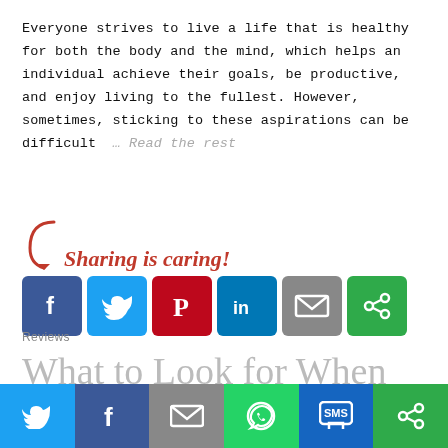Everyone strives to live a life that is healthy for both the body and the mind, which helps an individual achieve their goals, be productive, and enjoy living to the fullest. However, sometimes, sticking to these aspirations can be difficult … Read the rest
[Figure (infographic): Sharing is caring! section with a red cursive arrow pointing to social sharing buttons: Facebook (blue), Twitter (light blue), Pinterest (red), LinkedIn (dark blue), Email (grey), and a green share button.]
Reviews
What to Look for When Purchasing Home W...
[Figure (infographic): Bottom social sharing bar with six buttons: Twitter (light blue), Facebook (dark blue), Email (grey), WhatsApp (green), SMS (dark blue), and a green share/more button.]